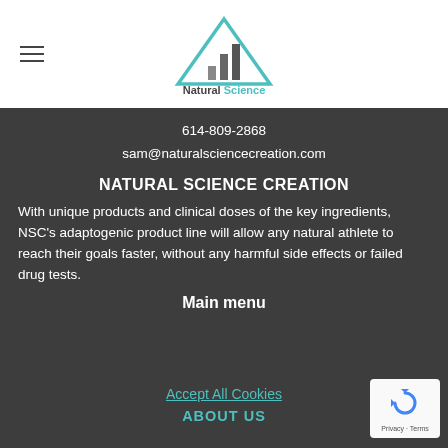[Figure (logo): Natural Science logo: triangle outline in teal with grey bar chart inside, text 'Natural Science' below]
614-809-2868
sam@naturalsciencecreation.com
NATURAL SCIENCE CREATION
With unique products and clinical doses of the key ingredients, NSC's adaptogenic product line will allow any natural athlete to reach their goals faster, without any harmful side effects or failed drug tests.
Main menu
Accept All Cookies
ABOUT US